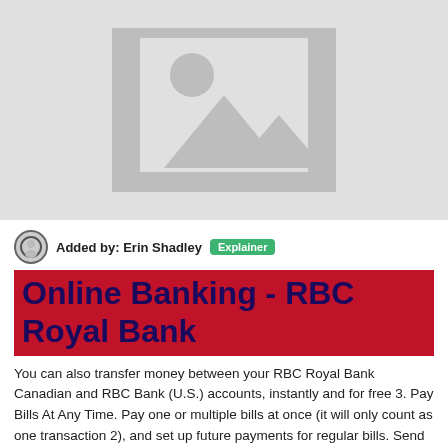[Figure (illustration): Placeholder image with grey background showing a generic landscape icon (mountains and sun outline)]
Added by: Erin Shadley  Explainer
Online Banking - RBC Royal Bank
You can also transfer money between your RBC Royal Bank Canadian and RBC Bank (U.S.) accounts, instantly and for free 3. Pay Bills At Any Time. Pay one or multiple bills at once (it will only count as one transaction 2), and set up future payments for regular bills. Send Money
Url: https://www.rbcroyalbank.com/ways-to-bank/online-